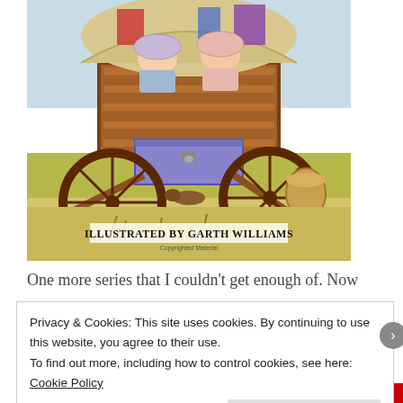[Figure (illustration): Book cover illustration by Garth Williams showing two young girls in bonnets riding in a covered wagon loaded with household goods, viewed from the rear of the wagon. Text reads 'ILLUSTRATED BY GARTH WILLIAMS' and 'Copyrighted Material'.]
One more series that I couldn't get enough of. Now my daughter is reading them!
Privacy & Cookies: This site uses cookies. By continuing to use this website, you agree to their use. To find out more, including how to control cookies, see here: Cookie Policy
Close and accept